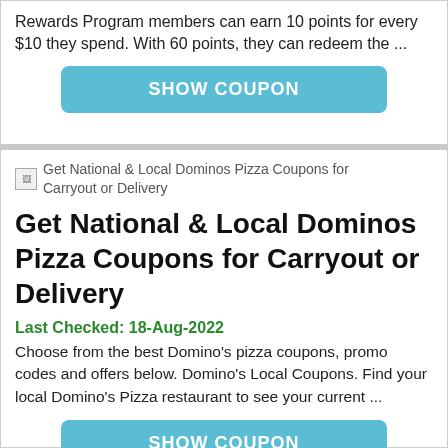Rewards Program members can earn 10 points for every $10 they spend. With 60 points, they can redeem the ...
SHOW COUPON
[Figure (other): Broken image placeholder for: Get National & Local Dominos Pizza Coupons for Carryout or Delivery]
Get National & Local Dominos Pizza Coupons for Carryout or Delivery
Last Checked: 18-Aug-2022
Choose from the best Domino's pizza coupons, promo codes and offers below. Domino's Local Coupons. Find your local Domino's Pizza restaurant to see your current ...
SHOW COUPON